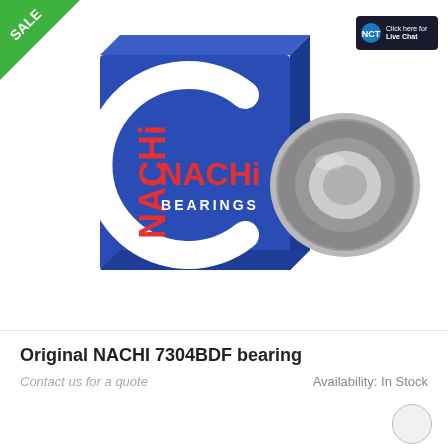[Figure (photo): Product photo showing a blue NACHI Bearings box next to a metal ball bearing (NACHI 7304BDF). The box is blue with a large white C-shaped logo, red NACHI text, and white BEARINGS text. A green triangle SALE badge is in the top-left corner. A small dark live chat badge is in the top-right corner.]
Original NACHI 7304BDF bearing
Contact us for a quote
Availability: In Stock